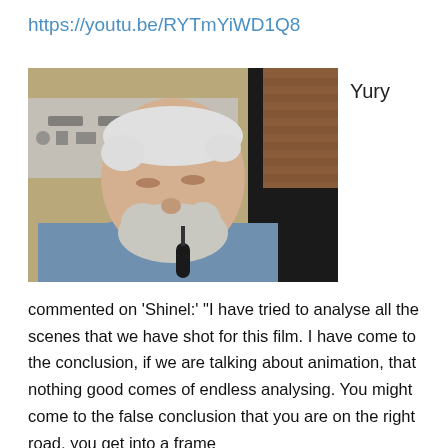https://youtu.be/RYTmYiWD1Q8
[Figure (photo): Elderly man with white hair and beard, wearing a light blue shirt, looking downward at a microphone. Background shows a projector screen and brick wall.]
Yury
commented on ‘Shinel:’ “I have tried to analyse all the scenes that we have shot for this film. I have come to the conclusion, if we are talking about animation, that nothing good comes of endless analysing. You might come to the false conclusion that you are on the right road, you get into a frame